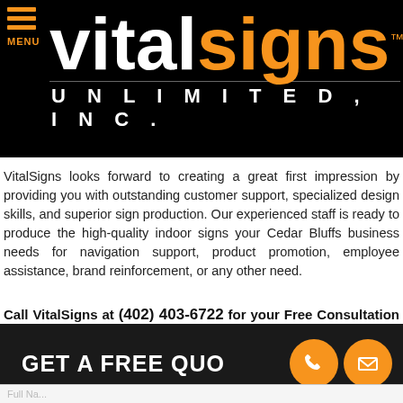[Figure (logo): VitalSigns Unlimited, Inc. logo on black background with menu icon. 'vital' in white, 'signs' in orange, 'UNLIMITED, INC.' in white spaced letters below.]
VitalSigns looks forward to creating a great first impression by providing you with outstanding customer support, specialized design skills, and superior sign production. Our experienced staff is ready to produce the high-quality indoor signs your Cedar Bluffs business needs for navigation support, product promotion, employee assistance, brand reinforcement, or any other need.
Call VitalSigns at (402) 403-6722 for your Free Consultation with an Indoor Signs Specialist!
GET A FREE QUOTE